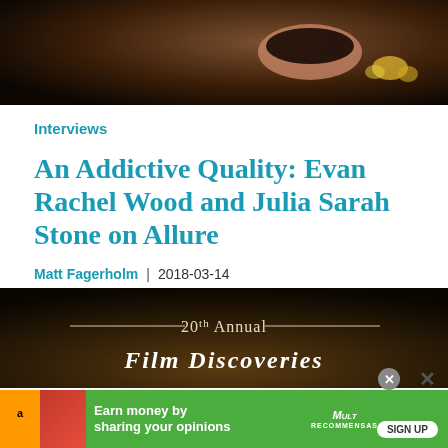[Figure (photo): Dimly lit scene with a bowl and yellow flowers or garnishes on a dark wooden surface]
Interviews
An Addictive Quality: Evan Rachel Wood and Julia Sarah Stone on Allure
Matt Fagerholm  |  2018-03-14
An interview with Evan Rachel Wood and Julia Sarah Stone, the stars of Carlos and Jason Sanchez's "Allure."
[Figure (photo): Dark background with '20th Annual' text and decorative lines, partial view of a musical instrument]
[Figure (other): Advertisement banner: green background with 'Earn money by sharing your opinions' text, Amazon icon, sign up button, and close buttons]